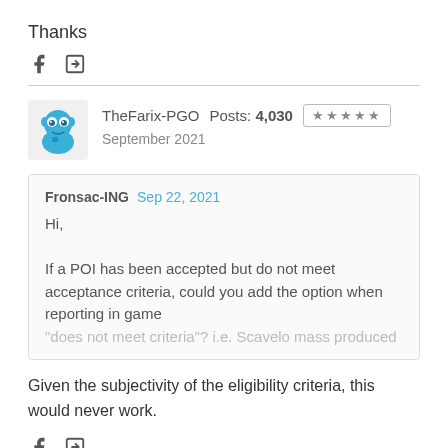Thanks
TheFarix-PGO  Posts: 4,030  ★★★★★  September 2021
Fronsac-ING  Sep 22, 2021
Hi,
If a POI has been accepted but do not meet acceptance criteria, could you add the option when reporting in game "does not meet criteria"? i.e. Scavelo mass produced...
Given the subjectivity of the eligibility criteria, this would never work.